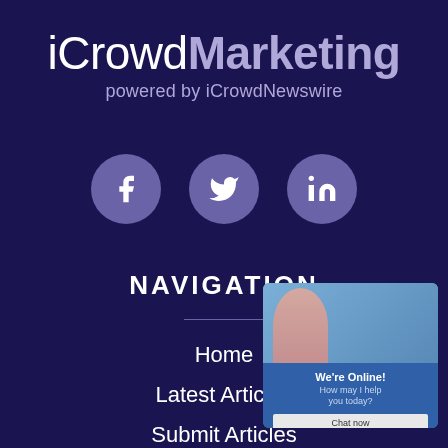iCrowdMarketing powered by iCrowdNewswire
[Figure (logo): Three social media icons in purple circles: Facebook, Twitter, LinkedIn]
NAVIGATION
Home
Latest Articles
Submit Articles
About
[Figure (screenshot): Live chat widget overlay showing a face image and 'We're Online! How may I help you today?' with a Chat now button]